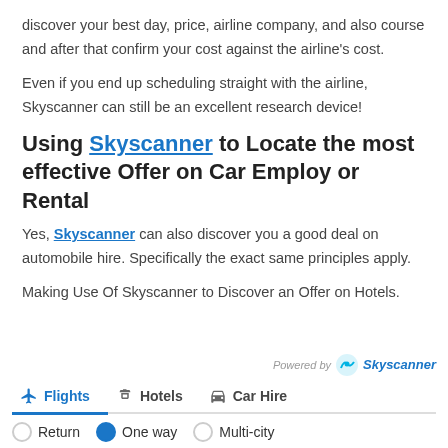discover your best day, price, airline company, and also course and after that confirm your cost against the airline's cost.
Even if you end up scheduling straight with the airline, Skyscanner can still be an excellent research device!
Using Skyscanner to Locate the most effective Offer on Car Employ or Rental
Yes, Skyscanner can also discover you a good deal on automobile hire. Specifically the exact same principles apply.
Making Use Of Skyscanner to Discover an Offer on Hotels.
[Figure (screenshot): Skyscanner widget showing Flights, Hotels, Car Hire tabs with Return, One way, Multi-city radio buttons. 'One way' is selected. Powered by Skyscanner logo shown.]